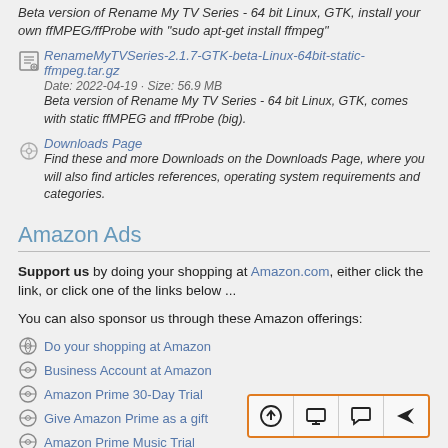Beta version of Rename My TV Series - 64 bit Linux, GTK, install your own ffMPEG/ffProbe with "sudo apt-get install ffmpeg"
RenameMyTVSeries-2.1.7-GTK-beta-Linux-64bit-static-ffmpeg.tar.gz | Date: 2022-04-19 · Size: 56.9 MB | Beta version of Rename My TV Series - 64 bit Linux, GTK, comes with static ffMPEG and ffProbe (big).
Downloads Page | Find these and more Downloads on the Downloads Page, where you will also find articles references, operating system requirements and categories.
Amazon Ads
Support us by doing your shopping at Amazon.com, either click the link, or click one of the links below ...
You can also sponsor us through these Amazon offerings:
Do your shopping at Amazon
Business Account at Amazon
Amazon Prime 30-Day Trial
Give Amazon Prime as a gift
Amazon Prime Music Trial